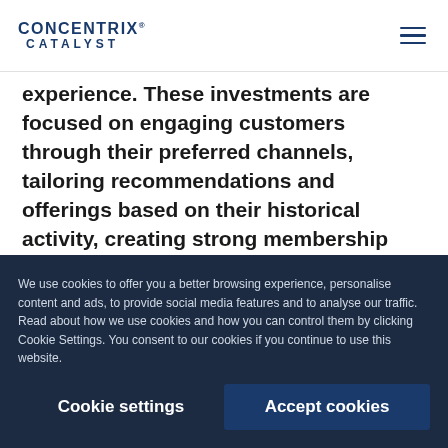CONCENTRIX CATALYST
experience. These investments are focused on engaging customers through their preferred channels, tailoring recommendations and offerings based on their historical activity, creating strong membership programs that reward loyalty, and building solutions that meet the needs of their target audiences. Banks can no longer assume that their target audience will adjust its needs to meet pre-existing solutions.
We use cookies to offer you a better browsing experience, personalise content and ads, to provide social media features and to analyse our traffic. Read about how we use cookies and how you can control them by clicking Cookie Settings. You consent to our cookies if you continue to use this website.
Cookie settings   Accept cookies